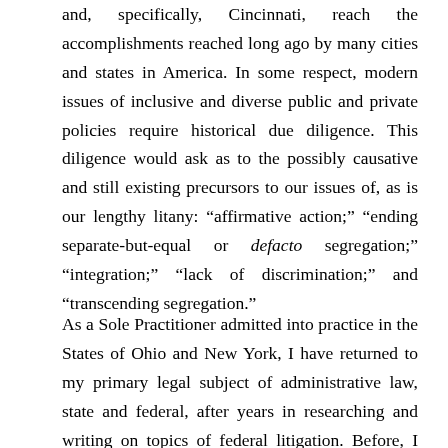and, specifically, Cincinnati, reach the accomplishments reached long ago by many cities and states in America. In some respect, modern issues of inclusive and diverse public and private policies require historical due diligence. This diligence would ask as to the possibly causative and still existing precursors to our issues of, as is our lengthy litany: “affirmative action;” “ending separate-but-equal or defacto segregation;” “integration;” “lack of discrimination;” and “transcending segregation.”
As a Sole Practitioner admitted into practice in the States of Ohio and New York, I have returned to my primary legal subject of administrative law, state and federal, after years in researching and writing on topics of federal litigation. Before, I was not permitted to